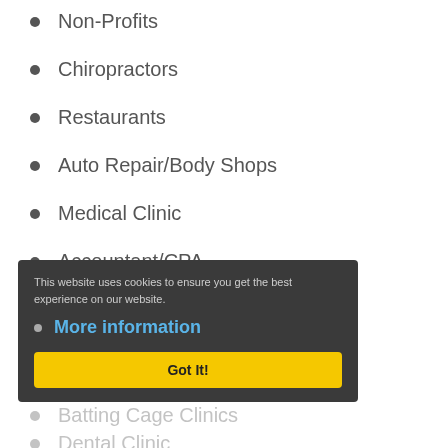Non-Profits
Chiropractors
Restaurants
Auto Repair/Body Shops
Medical Clinic
Accountant/CPA
Mortgage Broker
Promotional Schools
Custom/Imaged/Apparel Printing
Batting Cage Clinics
Dental Clinic
This website uses cookies to ensure you get the best experience on our website.
More information
Got It!